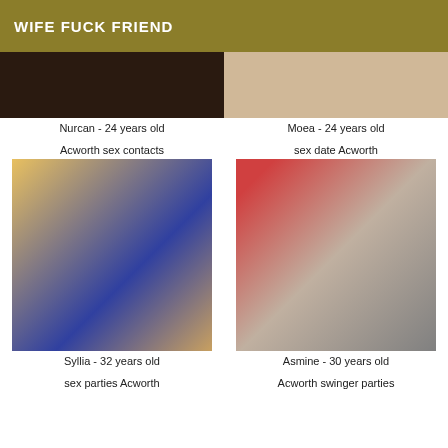WIFE FUCK FRIEND
Nurcan - 24 years old
Moea - 24 years old
Acworth sex contacts
sex date Acworth
[Figure (photo): Profile photo of Syllia]
[Figure (photo): Profile photo of Asmine]
Syllia - 32 years old
Asmine - 30 years old
sex parties Acworth
Acworth swinger parties